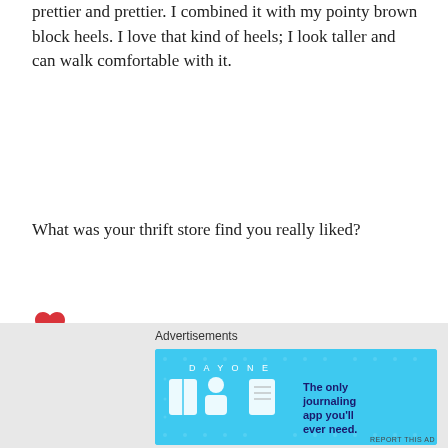prettier and prettier. I combined it with my pointy brown block heels. I love that kind of heels; I look taller and can walk comfortable with it.
What was your thrift store find you really liked?
[Figure (illustration): A red heart icon/emoji]
Dress: C&A Shoes: Primark Bag: vintage Omoda Watch: Pulsar
[Figure (other): Advertisement banner for Day One journaling app with blue background and slogan 'The only journaling app you'll ever need.']